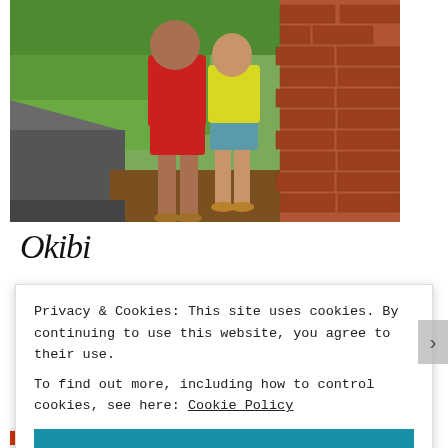[Figure (photo): Two children standing next to a brick wall outdoors. One wearing red top, the other wearing yellow top and blue patterned shorts. Ground has dry grass and dirt. Green foliage visible in background.]
Okshi
Privacy & Cookies: This site uses cookies. By continuing to use this website, you agree to their use.
To find out more, including how to control cookies, see here: Cookie Policy
Close and accept